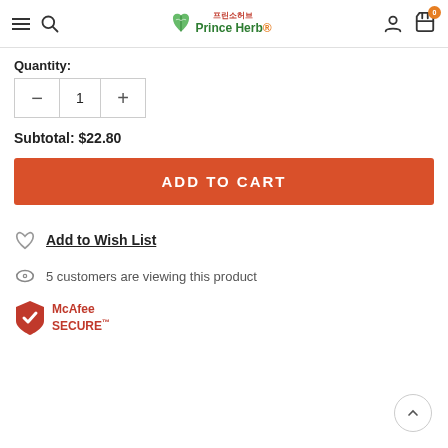Prince Herb 프린소허브
Quantity:
Subtotal: $22.80
ADD TO CART
Add to Wish List
5 customers are viewing this product
[Figure (logo): McAfee SECURE logo with red shield and checkmark]